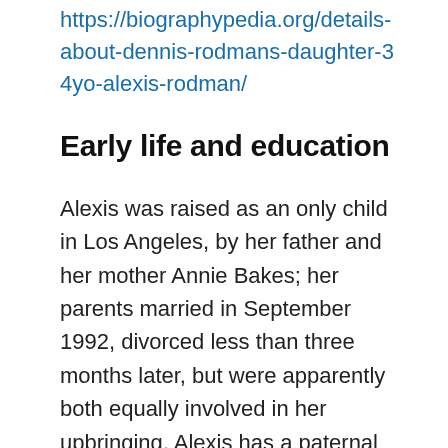https://biographypedia.org/details-about-dennis-rodmans-daughter-34yo-alexis-rodman/
Early life and education
Alexis was raised as an only child in Los Angeles, by her father and her mother Annie Bakes; her parents married in September 1992, divorced less than three months later, but were apparently both equally involved in her upbringing. Alexis has a paternal half-sister Trinity and half-brother Dennis Jr,, whose mother is Michelle Moyer; Trinity is a